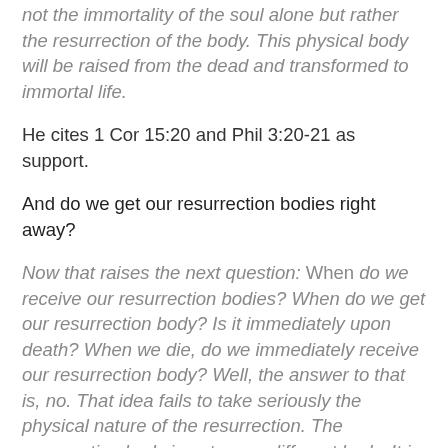not the immortality of the soul alone but rather the resurrection of the body. This physical body will be raised from the dead and transformed to immortal life.
He cites 1 Cor 15:20 and Phil 3:20-21 as support.
And do we get our resurrection bodies right away?
Now that raises the next question: When do we receive our resurrection bodies? When do we get our resurrection body? Is it immediately upon death? When we die, do we immediately receive our resurrection body? Well, the answer to that is, no. That idea fails to take seriously the physical nature of the resurrection. The resurrection body is not some different body. It is this body transformed into a glorious, immortal, Spirit-filled, incorruptible form. So if we received our resurrection body immediately upon death, the